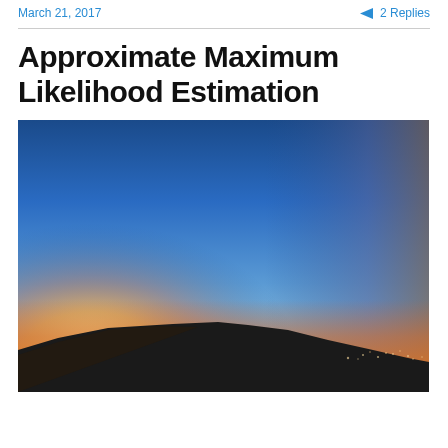March 21, 2017    ➤ 2 Replies
Approximate Maximum Likelihood Estimation
[Figure (photo): A sunset or sunrise panoramic photograph showing a deep blue sky fading to orange and golden light near the horizon, with a dark mountain silhouette at the bottom and a city skyline visible in the distance on the right side.]